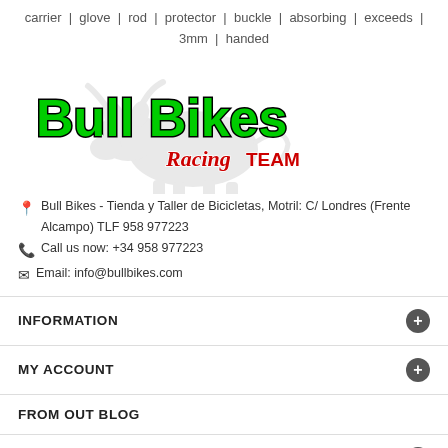carrier | glove | rod | protector | buckle | absorbing | exceeds | 3mm | handed
[Figure (logo): Bull Bikes Racing Team logo with green bold text 'Bull Bikes' and red 'Racing TEAM' script, with a grey bull silhouette watermark behind.]
Bull Bikes - Tienda y Taller de Bicicletas, Motril: C/ Londres (Frente Alcampo) TLF 958 977223
Call us now: +34 958 977223
Email: info@bullbikes.com
INFORMATION
MY ACCOUNT
FROM OUT BLOG
CATEGORIES